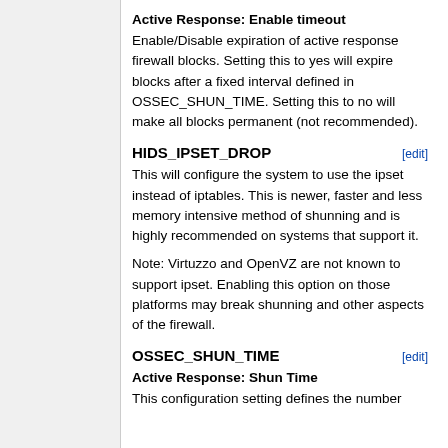Active Response: Enable timeout
Enable/Disable expiration of active response firewall blocks. Setting this to yes will expire blocks after a fixed interval defined in OSSEC_SHUN_TIME. Setting this to no will make all blocks permanent (not recommended).
HIDS_IPSET_DROP [edit]
This will configure the system to use the ipset instead of iptables. This is newer, faster and less memory intensive method of shunning and is highly recommended on systems that support it.
Note: Virtuzzo and OpenVZ are not known to support ipset. Enabling this option on those platforms may break shunning and other aspects of the firewall.
OSSEC_SHUN_TIME [edit]
Active Response: Shun Time
This configuration setting defines the number